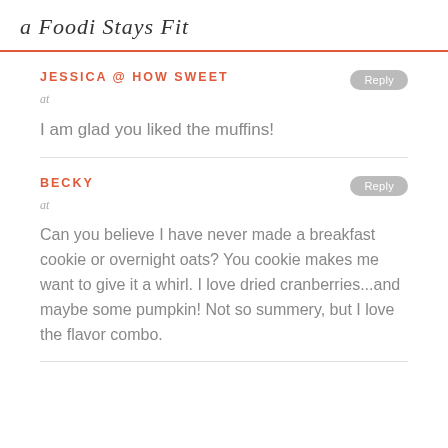a Foodi Stays Fit
JESSICA @ HOW SWEET
at
I am glad you liked the muffins!
BECKY
at
Can you believe I have never made a breakfast cookie or overnight oats? You cookie makes me want to give it a whirl. I love dried cranberries...and maybe some pumpkin! Not so summery, but I love the flavor combo.